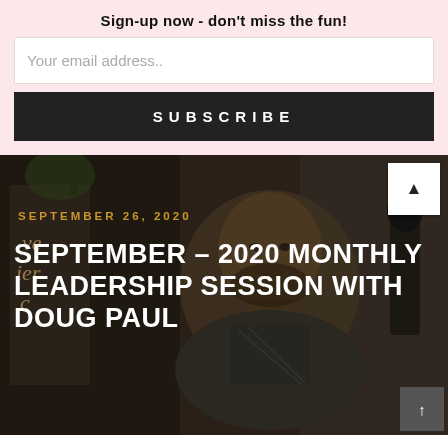Sign-up now - don't miss the fun!
Your email address..
SUBSCRIBE
[Figure (photo): Dark-toned photo of a man smiling, seated, with blurred background including plants and a monitor/microphone setup]
SEPTEMBER 26, 2020
SEPTEMBER – 2020 MONTHLY LEADERSHIP SESSION WITH DOUG PAUL